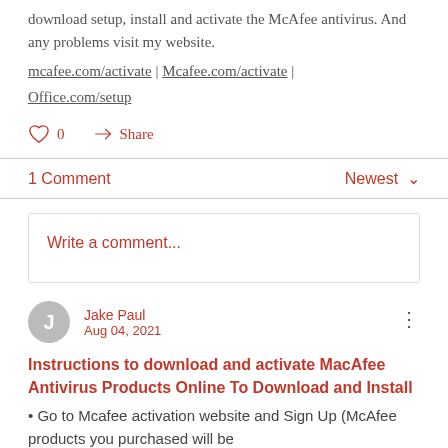download setup, install and activate the McAfee antivirus. And any problems visit my website.
mcafee.com/activate | Mcafee.com/activate | Office.com/setup
0  Share
1 Comment
Write a comment...
Jake Paul
Aug 04, 2021
Instructions to download and activate MacAfee Antivirus Products Online To Download and Install
• Go to Mcafee activation website and Sign Up (McAfee products you purchased will be